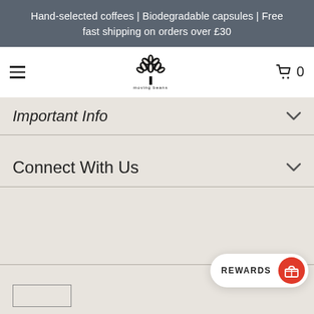Hand-selected coffees | Biodegradable capsules | Free fast shipping on orders over £30
[Figure (logo): Moving Beans logo — tree made of coffee beans with text 'moving beans' below]
Important Info
Connect With Us